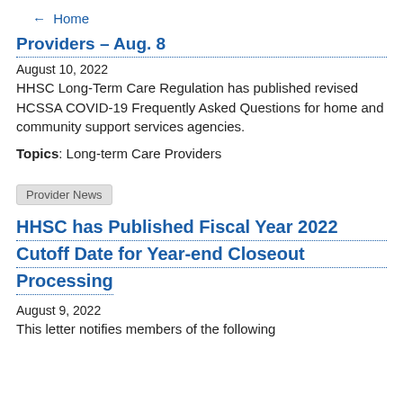← Home
Providers – Aug. 8
August 10, 2022
HHSC Long-Term Care Regulation has published revised HCSSA COVID-19 Frequently Asked Questions for home and community support services agencies.
Topics: Long-term Care Providers
Provider News
HHSC has Published Fiscal Year 2022 Cutoff Date for Year-end Closeout Processing
August 9, 2022
This letter notifies members of the following